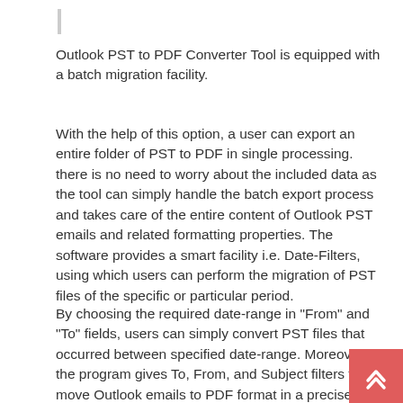Outlook PST to PDF Converter Tool is equipped with a batch migration facility.
With the help of this option, a user can export an entire folder of PST to PDF in single processing. there is no need to worry about the included data as the tool can simply handle the batch export process and takes care of the entire content of Outlook PST emails and related formatting properties. The software provides a smart facility i.e. Date-Filters, using which users can perform the migration of PST files of the specific or particular period.
By choosing the required date-range in "From" and "To" fields, users can simply convert PST files that occurred between specified date-range. Moreover, the program gives To, From, and Subject filters to move Outlook emails to PDF format in a precise manner.